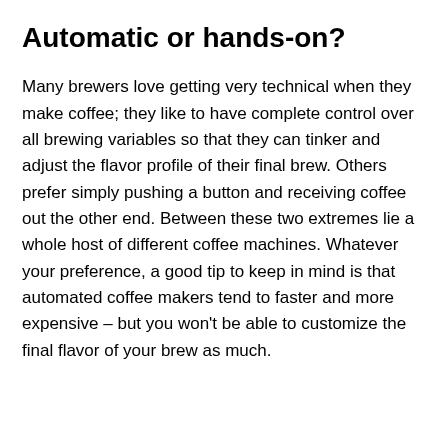Automatic or hands-on?
Many brewers love getting very technical when they make coffee; they like to have complete control over all brewing variables so that they can tinker and adjust the flavor profile of their final brew. Others prefer simply pushing a button and receiving coffee out the other end. Between these two extremes lie a whole host of different coffee machines. Whatever your preference, a good tip to keep in mind is that automated coffee makers tend to faster and more expensive – but you won't be able to customize the final flavor of your brew as much.